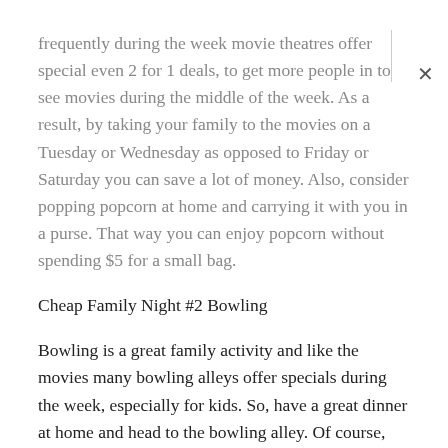frequently during the week movie theatres offer special even 2 for 1 deals, to get more people in to see movies during the middle of the week. As a result, by taking your family to the movies on a Tuesday or Wednesday as opposed to Friday or Saturday you can save a lot of money. Also, consider popping popcorn at home and carrying it with you in a purse. That way you can enjoy popcorn without spending $5 for a small bag.
Cheap Family Night #2 Bowling
Bowling is a great family activity and like the movies many bowling alleys offer specials during the week, especially for kids. So, have a great dinner at home and head to the bowling alley. Of course, call ahead and find